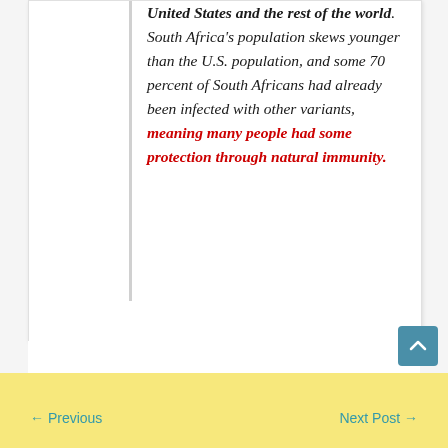United States and the rest of the world. South Africa's population skews younger than the U.S. population, and some 70 percent of South Africans had already been infected with other variants, meaning many people had some protection through natural immunity.
← Previous   Next Post →